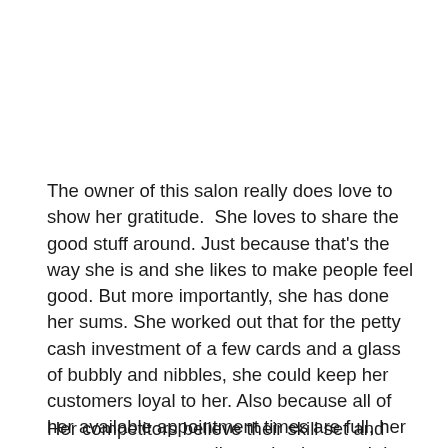The owner of this salon really does love to show her gratitude.  She loves to share the good stuff around. Just because that's the way she is and she likes to make people feel good. But more importantly, she has done her sums. She worked out that for the petty cash investment of a few cards and a glass of bubbly and nibbles, she could keep her customers loyal to her. Also because all of her available appointment times are full, her customers are actually costing her much less than her competitors are, because she is not paying overheads and staff time for empty chairs – a very profitable situation.
Her competitors believe their skill set and their personalities are sufficient in themselves to keep them in